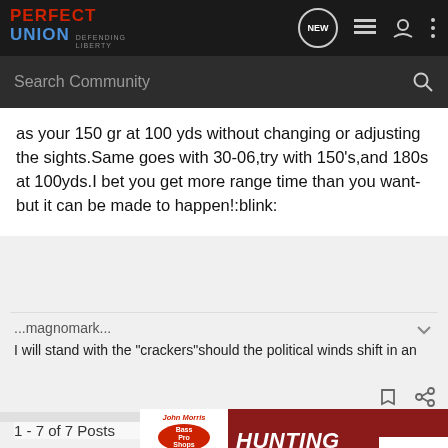[Figure (screenshot): Perfect Union forum website navigation bar with logo, NEW badge, menu icons]
Search Community
as your 150 gr at 100 yds without changing or adjusting the sights.Same goes with 30-06,try with 150's,and 180s at 100yds.I bet you get more range time than you want-but it can be made to happen!:blink:
...magnomark...
I will stand with the "crackers"should the political winds shift in an
1 - 7 of 7 Posts
[Figure (other): Bass Pro Shops Bargain Cave Hunting Clearance advertisement banner with Shop Now button]